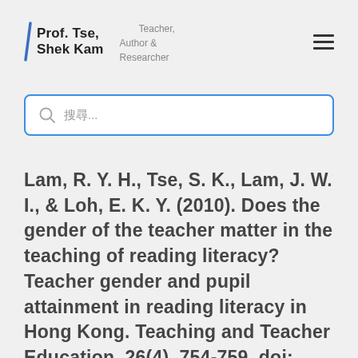Prof. Tse, Shek Kam — Teacher, Author & Researcher
搜尋...
Lam, R. Y. H., Tse, S. K., Lam, J. W. I., & Loh, E. K. Y. (2010). Does the gender of the teacher matter in the teaching of reading literacy? Teacher gender and pupil attainment in reading literacy in Hong Kong. Teaching and Teacher Education, 26(4), 754-759. doi: 10.1016/j.tate.2009.10.010.